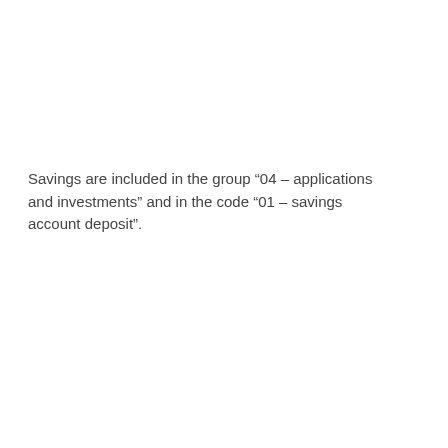Savings are included in the group “04 – applications and investments” and in the code “01 – savings account deposit”.